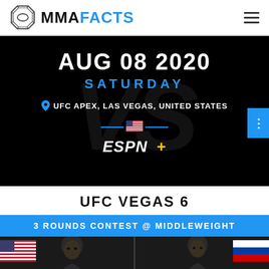MMA FACTS
[Figure (screenshot): Black hero banner with date AUG 08 2020, SATURDAY in blue, location UFC APEX LAS VEGAS UNITED STATES, ESPN+ logo with US flag, and VS watermark]
UFC VEGAS 6
3 ROUNDS CONTEST @ MIDDLEWEIGHT
[Figure (photo): Two MMA fighters side by side on black background. Left fighter with US flag, right fighter with Russian flag.]